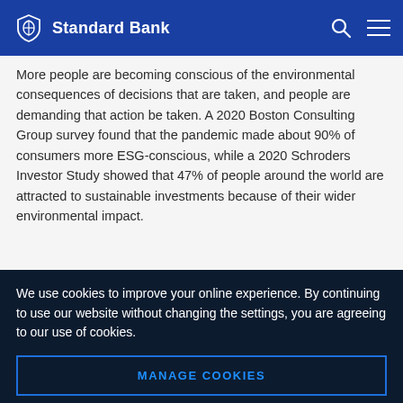Standard Bank
More people are becoming conscious of the environmental consequences of decisions that are taken, and people are demanding that action be taken. A 2020 Boston Consulting Group survey found that the pandemic made about 90% of consumers more ESG-conscious, while a 2020 Schroders Investor Study showed that 47% of people around the world are attracted to sustainable investments because of their wider environmental impact.
We use cookies to improve your online experience. By continuing to use our website without changing the settings, you are agreeing to our use of cookies.
MANAGE COOKIES
ACCEPT ALL COOKIES